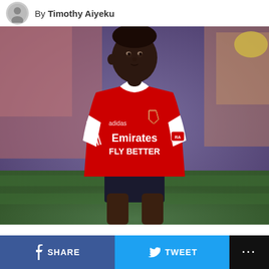By Timothy Aiyeku
[Figure (photo): A footballer wearing an Arsenal red and white home kit with Emirates FLY BETTER sponsor, adidas branding, and Arsenal crest, looking to the side on a football pitch with blurred crowd in background.]
SHARE   TWEET   ...